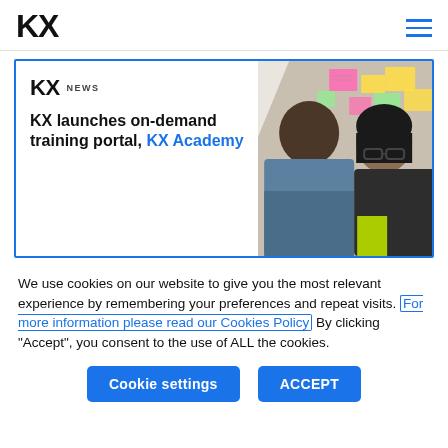KX
[Figure (screenshot): KX News article card with headline 'KX launches on-demand training portal, KX Academy' and a photo of two people looking at sticky notes on a wall. Blue border around card.]
We use cookies on our website to give you the most relevant experience by remembering your preferences and repeat visits. For more information please read our Cookies Policy By clicking "Accept", you consent to the use of ALL the cookies.
Cookie settings
ACCEPT